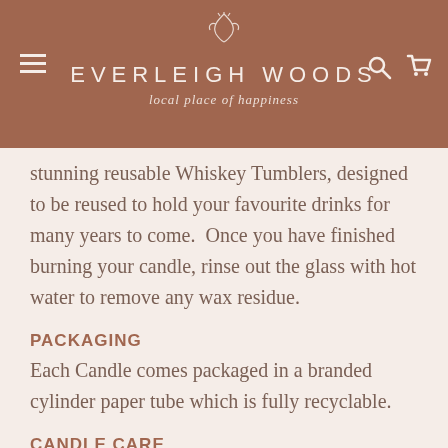EVERLEIGH WOODS
local place of happiness
stunning reusable Whiskey Tumblers, designed to be reused to hold your favourite drinks for many years to come.  Once you have finished burning your candle, rinse out the glass with hot water to remove any wax residue.
PACKAGING
Each Candle comes packaged in a branded cylinder paper tube which is fully recyclable.
CANDLE CARE
The first burn of your Candle is the most important.
When lighting your Candle for the first time, make sure to burn the Candle until the wax melts evenly to all edges of the glass. This may take up to 1 - 2 hours.